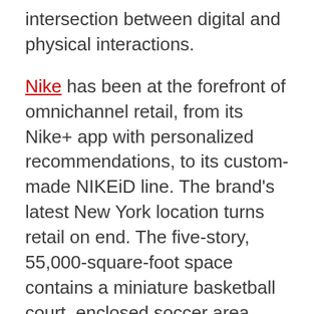intersection between digital and physical interactions.
Nike has been at the forefront of omnichannel retail, from its Nike+ app with personalized recommendations, to its custom-made NIKEiD line. The brand's latest New York location turns retail on end. The five-story, 55,000-square-foot space contains a miniature basketball court, enclosed soccer area, and running simulators. This epic space gives customers opportunities to test interesting products they might buy. The innovative store employs a dedicated staff on-site to analyze performance, suggest the right products for each